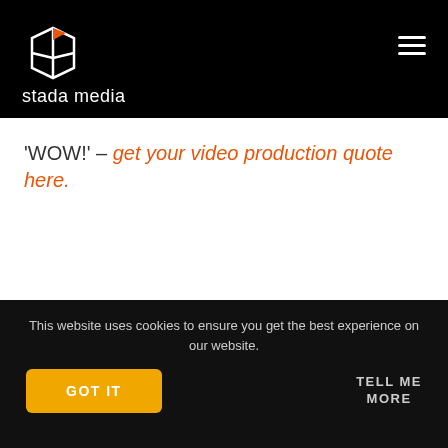stada media
'WOW!' – get your video production quote here.
Share this post
This website uses cookies to ensure you get the best experience on our website.